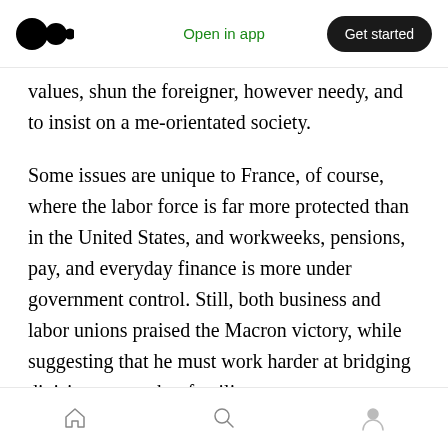Open in app | Get started
values, shun the foreigner, however needy, and to insist on a me-orientated society.
Some issues are unique to France, of course, where the labor force is far more protected than in the United States, and workweeks, pensions, pay, and everyday finance is more under government control. Still, both business and labor unions praised the Macron victory, while suggesting that he must work harder at bridging division — another familiar note.
Obviously, France has taken a leading role in the
Home | Search | Profile